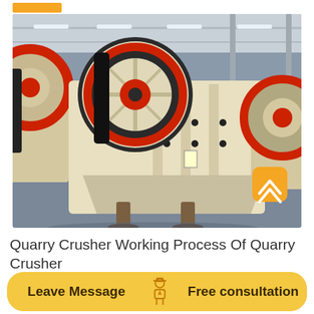[Figure (photo): Industrial jaw crushers with large red-rimmed flywheels in a factory/warehouse setting. Multiple cream/white colored jaw crusher machines are visible with red circular flywheels and black belts. A golden scroll-to-top button appears in the lower-right corner of the image.]
Quarry Crusher Working Process Of Quarry Crusher
Leave Message
Free consultation